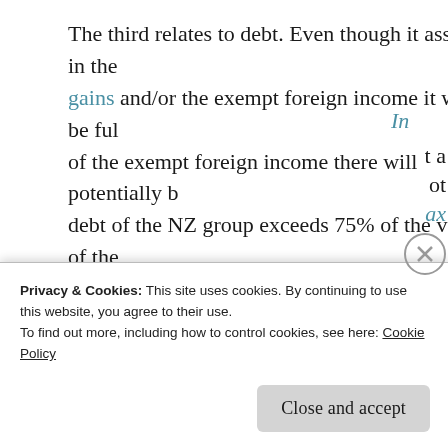The third relates to debt. Even though it assists in the gains and/or the exempt foreign income it will be fully of the exempt foreign income there will potentially be debt of the NZ group exceeds 75% of the value of the but not an excessive one given exempt income is being
Now also in Oxfam's press statement is a reference to paying the top tax rate. I am guessing some version of ability to use losses from past business failures is the
Privacy & Cookies: This site uses cookies. By continuing to use this website, you agree to their use.
To find out more, including how to control cookies, see here: Cookie Policy